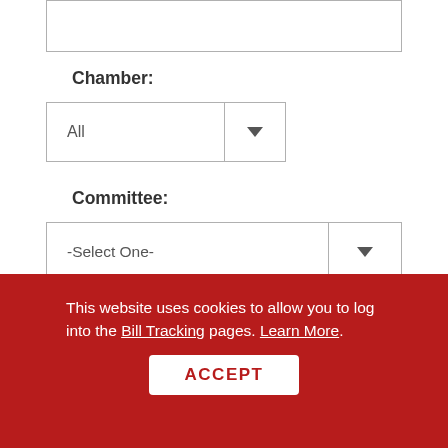[Figure (screenshot): Partial text input box at top of page, cropped]
Chamber:
[Figure (screenshot): Dropdown selector showing 'All' for Chamber field]
Committee:
[Figure (screenshot): Dropdown selector showing '-Select One-' for Committee field]
[Figure (screenshot): Red SEARCH button]
[Figure (screenshot): Partial dark blue bar at bottom of main content area]
This website uses cookies to allow you to log into the Bill Tracking pages. Learn More.
[Figure (screenshot): White ACCEPT button on red cookie banner]